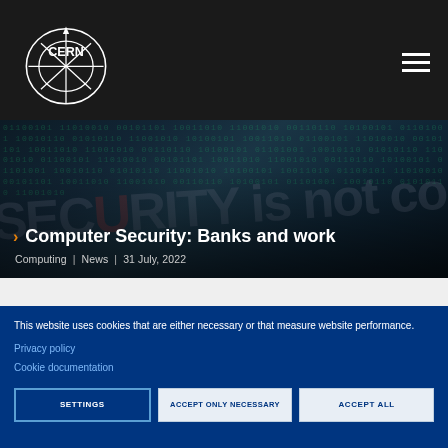[Figure (logo): CERN logo — white circle/ring graphic with CERN text on dark background navigation bar]
[Figure (photo): Hero banner image: dark digital matrix/binary code background with text 'SECURITY is not comp...' watermark, overlaid with article title and metadata]
Computer Security: Banks and work
Computing | News | 31 July, 2022
[Figure (photo): Colorful fiber optic / circuit board glowing teal and blue strands photo]
This website uses cookies that are either necessary or that measure website performance.
Privacy policy
Cookie documentation
SETTINGS
ACCEPT ONLY NECESSARY
ACCEPT ALL